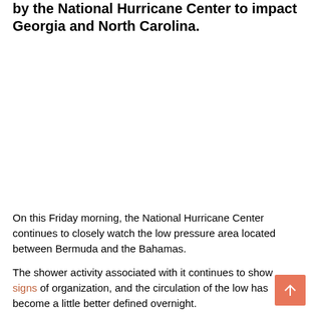by the National Hurricane Center to impact Georgia and North Carolina.
On this Friday morning, the National Hurricane Center continues to closely watch the low pressure area located between Bermuda and the Bahamas.
The shower activity associated with it continues to show signs of organization, and the circulation of the low has become a little better defined overnight.